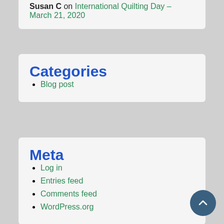Susan C on International Quilting Day – March 21, 2020
Categories
Blog post
Meta
Log in
Entries feed
Comments feed
WordPress.org